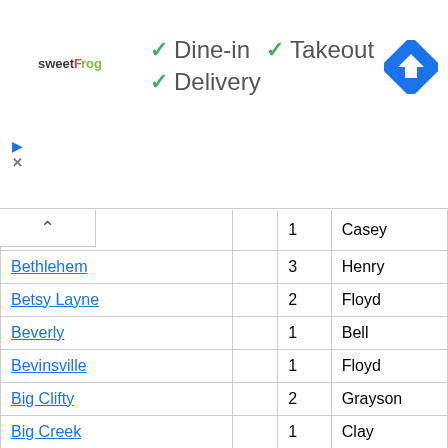[Figure (logo): sweetFrog logo]
✓ Dine-in  ✓ Takeout
✓ Delivery
[Figure (other): Blue diamond navigation/directions icon]
| City |  | Count | County |
| --- | --- | --- | --- |
| Bethelridge |  | 1 | Casey |
| Bethlehem |  | 3 | Henry |
| Betsy Layne |  | 2 | Floyd |
| Beverly |  | 1 | Bell |
| Bevinsville |  | 1 | Floyd |
| Big Clifty |  | 2 | Grayson |
| Big Creek |  | 1 | Clay |
| Big Laurel |  | 1 | Harlan |
| Bighill |  | 2 | Madison |
| Bimble |  | 1 | Knox |